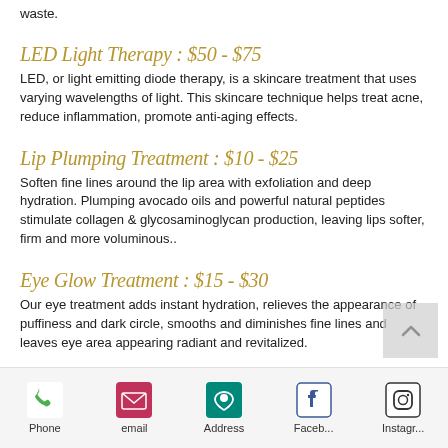waste.
LED Light Therapy : $50 - $75
LED, or light emitting diode therapy, is a skincare treatment that uses varying wavelengths of light. This skincare technique helps treat acne, reduce inflammation, promote anti-aging effects.
Lip Plumping Treatment : $10 - $25
Soften fine lines around the lip area with exfoliation and deep hydration. Plumping avocado oils and powerful natural peptides stimulate collagen & glycosaminoglycan production, leaving lips softer, firm and more voluminous..
Eye Glow Treatment : $15 - $30
Our eye treatment adds instant hydration, relieves the appearance of puffiness and dark circle, smooths and diminishes fine lines and leaves eye area appearing radiant and revitalized.
Phone  email  Address  Faceb...  Instagr...